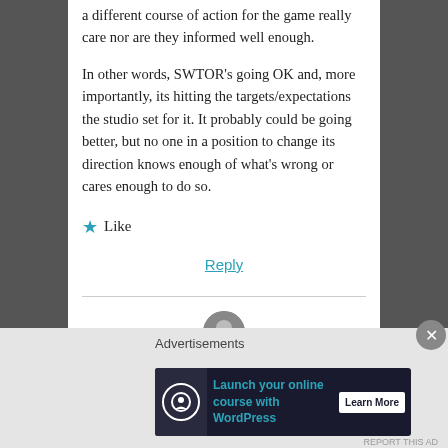a different course of action for the game really care nor are they informed well enough.
In other words, SWTOR's going OK and, more importantly, its hitting the targets/expectations the studio set for it. It probably could be going better, but no one in a position to change its direction knows enough of what's wrong or cares enough to do so.
★ Like
Reply
[Figure (other): Partial avatar/profile image circle at bottom of comment thread]
Advertisements
[Figure (other): Advertisement banner: Launch your online course with WordPress — Learn More button. Dark background with teal text and white Learn More button.]